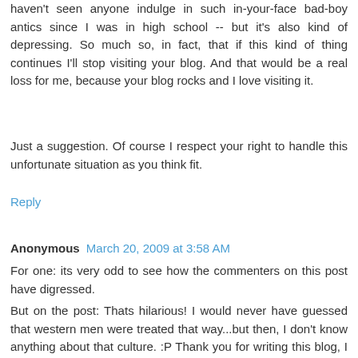haven't seen anyone indulge in such in-your-face bad-boy antics since I was in high school -- but it's also kind of depressing. So much so, in fact, that if this kind of thing continues I'll stop visiting your blog. And that would be a real loss for me, because your blog rocks and I love visiting it.
Just a suggestion. Of course I respect your right to handle this unfortunate situation as you think fit.
Reply
Anonymous March 20, 2009 at 3:58 AM
For one: its very odd to see how the commenters on this post have digressed.
But on the post: Thats hilarious! I would never have guessed that western men were treated that way...but then, I don't know anything about that culture. :P Thank you for writing this blog, I have loved reading it, very interesting posts :)